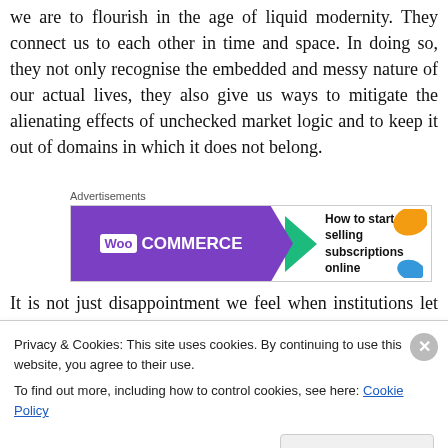we are to flourish in the age of liquid modernity. They connect us to each other in time and space. In doing so, they not only recognise the embedded and messy nature of our actual lives, they also give us ways to mitigate the alienating effects of unchecked market logic and to keep it out of domains in which it does not belong.
[Figure (other): WooCommerce advertisement banner: purple background with WooCommerce logo on the left, green arrow pointing right, text 'How to start selling subscriptions online' on the right with orange and blue decorative blobs.]
It is not just disappointment we feel when institutions let us down, it is indignation — as if something fundamental about
Privacy & Cookies: This site uses cookies. By continuing to use this website, you agree to their use.
To find out more, including how to control cookies, see here: Cookie Policy
Close and accept